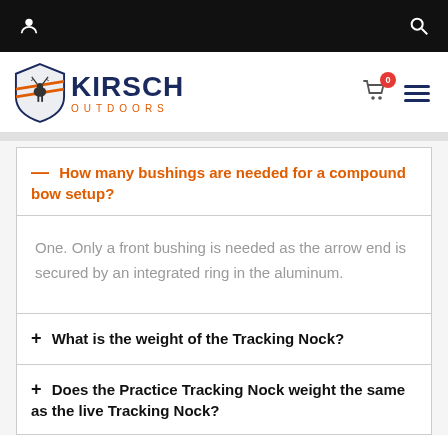Kirsch Outdoors navigation bar with user icon and search icon
[Figure (logo): Kirsch Outdoors logo with shield graphic containing deer silhouette, KIRSCH in dark navy bold text, OUTDOORS in orange spaced letters. Cart icon with badge showing 0, and hamburger menu icon.]
— How many bushings are needed for a compound bow setup?
One. Only a front bushing is needed as the arrow end is secured by an integrated ring in the aluminum.
+ What is the weight of the Tracking Nock?
+ Does the Practice Tracking Nock weight the same as the live Tracking Nock?